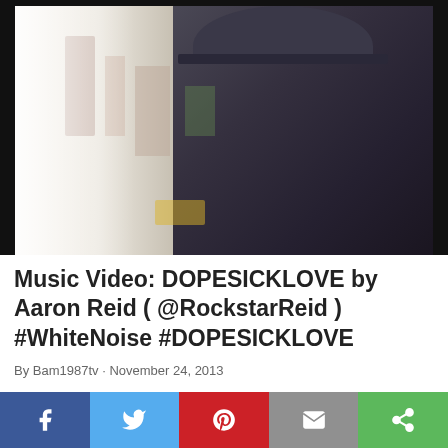[Figure (photo): A man in a dark fedora hat and dark jacket, seen in profile from the right side, holding his hand to his chin/mouth, with a blurred city background visible through a window.]
Music Video: DOPESICKLOVE by Aaron Reid ( @RockstarReid ) #WhiteNoise #DOPESICKLOVE
By Bam1987tv · November 24, 2013